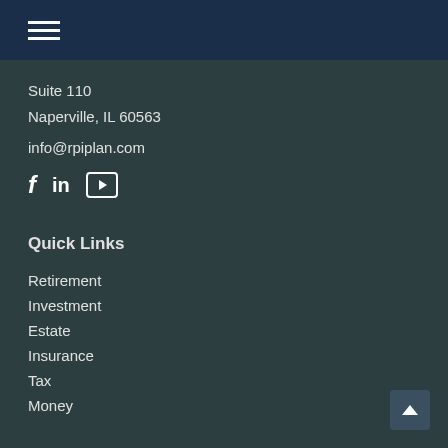Suite 110
Naperville, IL 60563
info@rpiplan.com
[Figure (other): Social media icons: Facebook (f), LinkedIn (in), YouTube]
Quick Links
Retirement
Investment
Estate
Insurance
Tax
Money